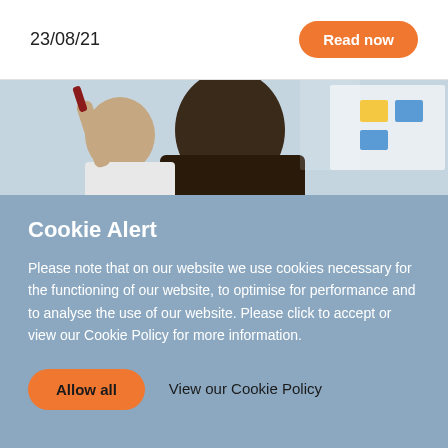23/08/21
Read now
[Figure (photo): Classroom photo showing children at desks, one child raising hand with a pen/marker, another child in foreground with dark hair, whiteboard visible in background]
Cookie Alert
Please note that on our website we use cookies necessary for the functioning of our website, to optimise for performance and to analyse the use of our website. Please click to accept or view our Cookie Policy for more information.
Allow all
View our Cookie Policy